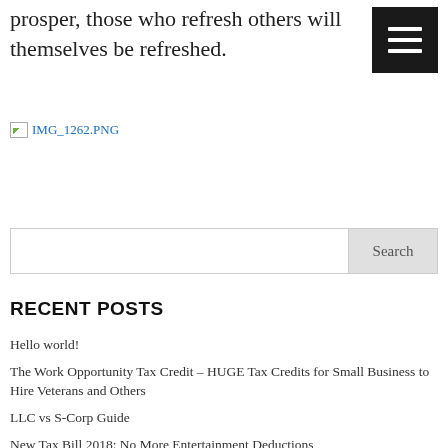prosper, those who refresh others will themselves be refreshed.
[Figure (other): Broken image placeholder showing IMG_1262.PNG as a blue link text with broken image icon]
Search
RECENT POSTS
Hello world!
The Work Opportunity Tax Credit – HUGE Tax Credits for Small Business to Hire Veterans and Others
LLC vs S-Corp Guide
New Tax Bill 2018: No More Entertainment Deductions
FeedbackWRENCH SEO Web Design and Video Production – Amplify Referrals